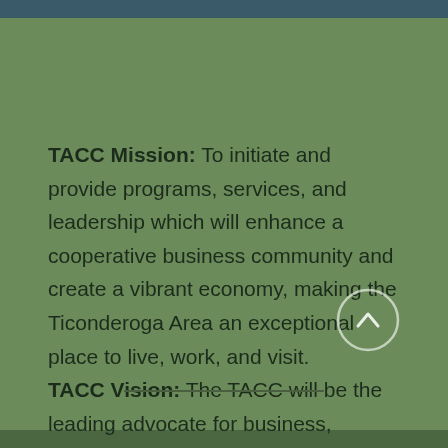TACC Mission: To initiate and provide programs, services, and leadership which will enhance a cooperative business community and create a vibrant economy, making the Ticonderoga Area an exceptional place to live, work, and visit. TACC Vision: The TACC will be the leading advocate for business, serving as a driving force in the economic vitality of the greater Ticonderoga Area, uniting communities and maximizing resources.